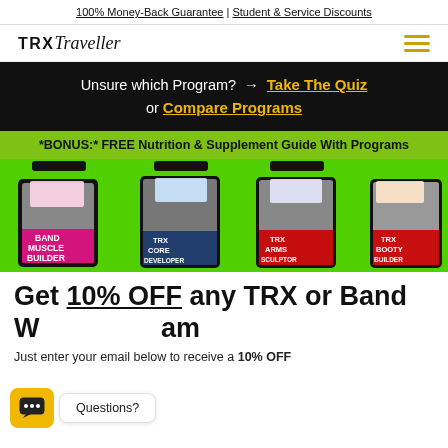100% Money-Back Guarantee | Student & Service Discounts
[Figure (logo): TRX Traveller logo with hamburger menu icon in gold]
Unsure which Program? → Take The Quiz or Compare Programs
*BONUS:* FREE Nutrition & Supplement Guide With Programs
[Figure (photo): Green background with multiple digital devices (tablets and phones) showing fitness program covers: Band Muscle Builder, TRX Core Developer, TRX Arms Sculptor, TRX Booty Builder]
Get 10% OFF any TRX or Band Workout Program
Just enter your email below to receive a 10% OFF
[Figure (other): Chat widget with yellow icon box and 'Questions?' speech bubble]